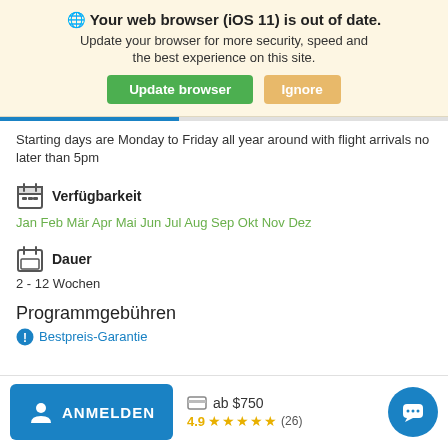🌐 Your web browser (iOS 11) is out of date. Update your browser for more security, speed and the best experience on this site.
Update browser | Ignore
Starting days are Monday to Friday all year around with flight arrivals no later than 5pm
Verfügbarkeit
Jan Feb Mär Apr Mai Jun Jul Aug Sep Okt Nov Dez
Dauer
2 - 12 Wochen
Programmgebühren
Bestpreis-Garantie
ANMELDEN
ab $750
4.9 ★★★★★ (26)